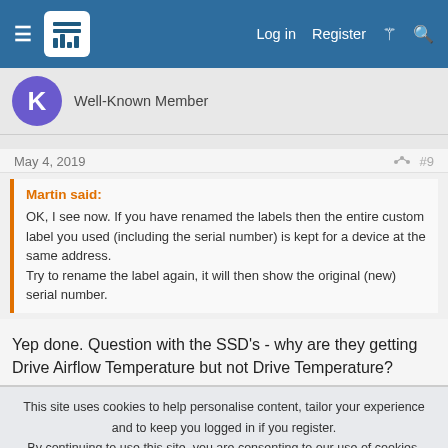Log in  Register
Well-Known Member
May 4, 2019  #9
Martin said:
OK, I see now. If you have renamed the labels then the entire custom label you used (including the serial number) is kept for a device at the same address.
Try to rename the label again, it will then show the original (new) serial number.
Yep done. Question with the SSD's - why are they getting Drive Airflow Temperature but not Drive Temperature?
This site uses cookies to help personalise content, tailor your experience and to keep you logged in if you register.
By continuing to use this site, you are consenting to our use of cookies.